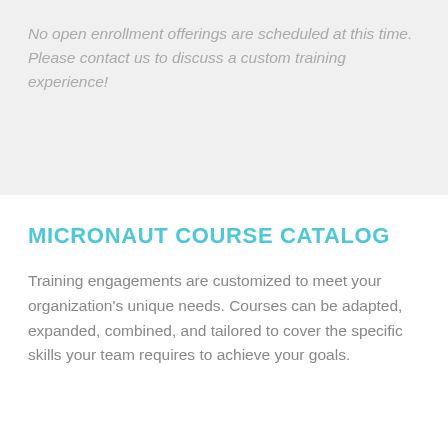No open enrollment offerings are scheduled at this time. Please contact us to discuss a custom training experience!
MICRONAUT COURSE CATALOG
Training engagements are customized to meet your organization's unique needs. Courses can be adapted, expanded, combined, and tailored to cover the specific skills your team requires to achieve your goals.